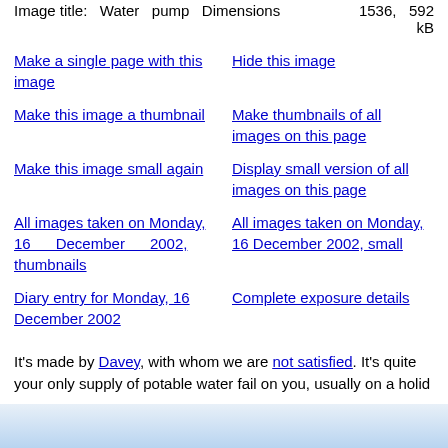Image title: Water pump Dimensions 1536, 592 kB
Make a single page with this image
Hide this image
Make this image a thumbnail
Make thumbnails of all images on this page
Make this image small again
Display small version of all images on this page
All images taken on Monday, 16 December 2002, thumbnails
All images taken on Monday, 16 December 2002, small
Diary entry for Monday, 16 December 2002
Complete exposure details
It's made by Davey, with whom we are not satisfied. It's quite unpleasant when your only supply of potable water fail on you, usually on a holiday.
The tank needs cleaning from time to time, about every five years. The last time was on 6 August 2003, and they found an incredible mess.